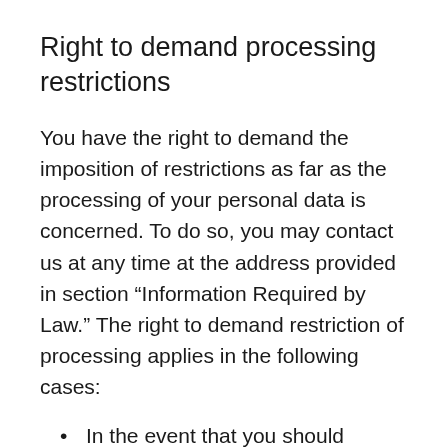Right to demand processing restrictions
You have the right to demand the imposition of restrictions as far as the processing of your personal data is concerned. To do so, you may contact us at any time at the address provided in section “Information Required by Law.” The right to demand restriction of processing applies in the following cases:
In the event that you should dispute the correctness of your data archived by us, we will usually need some time to verify this claim. During the time that this investigation is ongoing, you have the right to demand that we